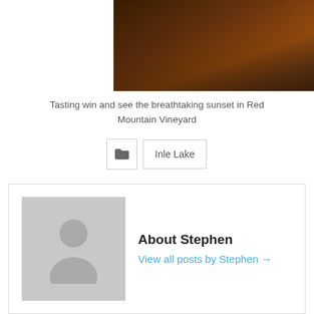[Figure (photo): Dark warm-toned photo of people at a restaurant or wine tasting, partially visible at top of page]
Tasting win and see the breathtaking sunset in Red Mountain Vineyard
[Figure (other): Folder icon tag button]
Inle Lake
About Stephen
View all posts by Stephen →
‹ Read Previous
Get Lost in Festive Space of Myanmar Festivals
Read Next ›
Phaungdawoo Festival, Inle Lake,